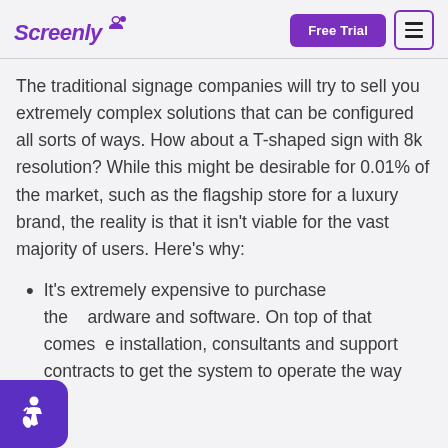Screenly | Free Trial | Menu
The traditional signage companies will try to sell you extremely complex solutions that can be configured all sorts of ways. How about a T-shaped sign with 8k resolution? While this might be desirable for 0.01% of the market, such as the flagship store for a luxury brand, the reality is that it isn't viable for the vast majority of users. Here's why:
It's extremely expensive to purchase the hardware and software. On top of that comes the installation, consultants and support contracts to get the system to operate the way